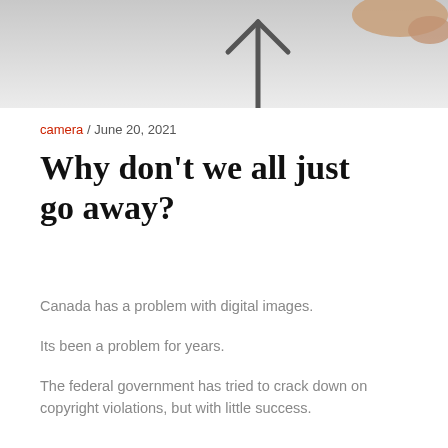[Figure (photo): Photograph of a hand drawing an upward arrow on a white background]
camera / June 20, 2021
Why don’t we all just go away?
Canada has a problem with digital images.
Its been a problem for years.
The federal government has tried to crack down on copyright violations, but with little success.